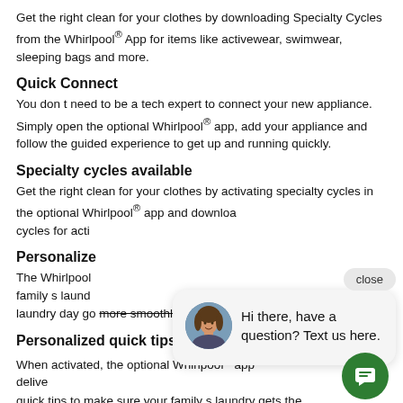Get the right clean for your clothes by downloading Specialty Cycles from the Whirlpool® App for items like activewear, swimwear, sleeping bags and more.
Quick Connect
You don t need to be a tech expert to connect your new appliance. Simply open the optional Whirlpool® app, add your appliance and follow the guided experience to get up and running quickly.
Specialty cycles available
Get the right clean for your clothes by activating specialty cycles in the optional Whirlpool® app and downloa cycles for acti
Personalize
The Whirlpool family s laund laundry day go more smoothly.
Personalized quick tips available
When activated, the optional Whirlpool® app delive quick tips to make sure your family s laundry gets the care it deserves while helping laundry day go more